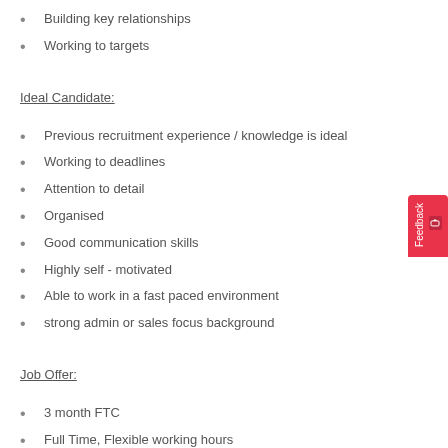Building key relationships
Working to targets
Ideal Candidate:
Previous recruitment experience / knowledge is ideal
Working to deadlines
Attention to detail
Organised
Good communication skills
Highly self - motivated
Able to work in a fast paced environment
strong admin or sales focus background
Job Offer:
3 month FTC
Full Time, Flexible working hours
Hybrid working
£12.62 per hour
Immediate start